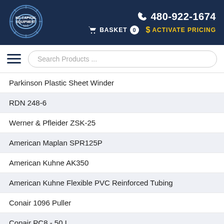KD Capital Equipment LLC | 480-922-1674 | BASKET 0 | ACTIVATE PRICING
[Figure (logo): KD Capital Equipment LLC logo — gear icon with company name]
Search Products ...
Parkinson Plastic Sheet Winder
RDN 248-6
Werner & Pfleider ZSK-25
American Maplan SPR125P
American Kuhne AK350
American Kuhne Flexible PVC Reinforced Tubing
Conair 1096 Puller
Conair PC8 - 50 L
s Standard 20IN20